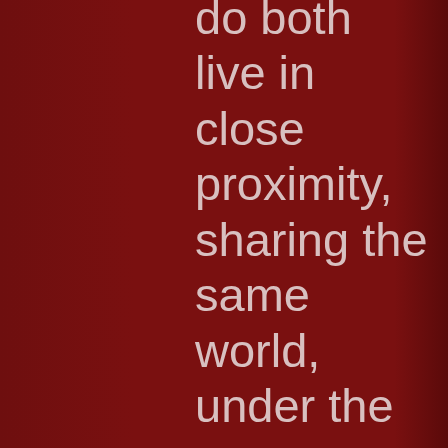do both live in close proximity, sharing the same world, under the same boyars and Burgomasters, with the